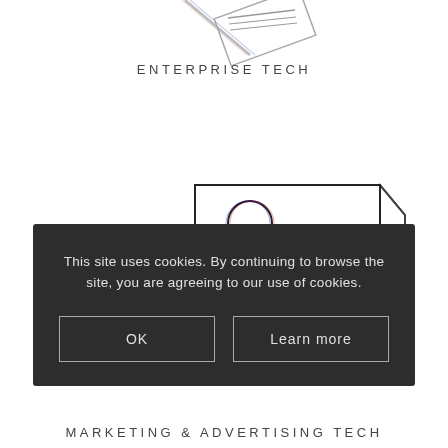ENTERPRISE TECH
[Figure (illustration): Sketch-style illustration of a billboard or digital display showing a person silhouette and data bars, rendered with glitch/chromatic aberration effect in black and white with colored accents]
This site uses cookies. By continuing to browse the site, you are agreeing to our use of cookies.
OK
Learn more
MARKETING & ADVERTISING TECH